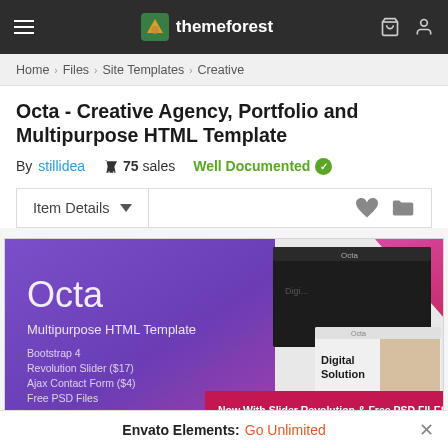themeforest
Home > Files > Site Templates > Creative
Octa - Creative Agency, Portfolio and Multipurpose HTML Template
By stillidea   75 sales   Well Documented
Item Details
[Figure (screenshot): Screenshot of the Octa Multipurpose HTML Template product preview on ThemeForest. Shows a purple-to-blue gradient design with Octa logo, Bootstrap 4 features listed, and website mockups with 'Digital Solution' text. A pink banner reads 'Now With Slider Revolution & Free PSD FILES'.]
Envato Elements: Go Unlimited